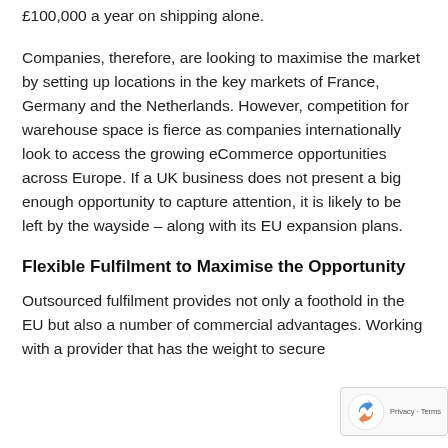£100,000 a year on shipping alone.
Companies, therefore, are looking to maximise the market by setting up locations in the key markets of France, Germany and the Netherlands. However, competition for warehouse space is fierce as companies internationally look to access the growing eCommerce opportunities across Europe. If a UK business does not present a big enough opportunity to capture attention, it is likely to be left by the wayside – along with its EU expansion plans.
Flexible Fulfilment to Maximise the Opportunity
Outsourced fulfilment provides not only a foothold in the EU but also a number of commercial advantages. Working with a provider that has the weight to secure